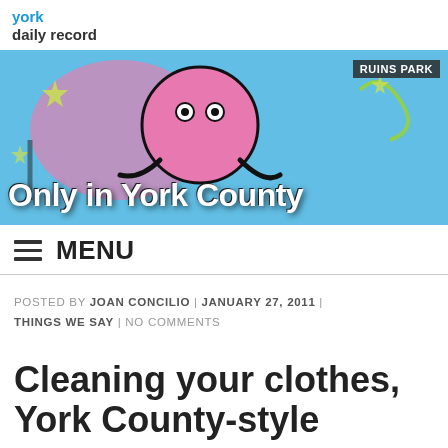york daily record
[Figure (photo): Banner image showing colorful graffiti art on a wall with cartoon-like characters in pink, blue, and green. Text 'Only in York County' overlaid in white bold letters. Label 'RUINS PARK' in top right corner.]
MENU
POSTED BY JOAN CONCILIO | JANUARY 27, 2011 | THINGS WE SAY | NO COMMENTS
Cleaning your clothes, York County-style